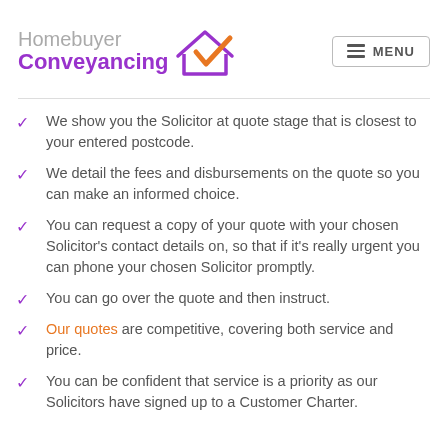[Figure (logo): Homebuyer Conveyancing logo with purple text and orange/purple house with checkmark icon, plus MENU button]
We show you the Solicitor at quote stage that is closest to your entered postcode.
We detail the fees and disbursements on the quote so you can make an informed choice.
You can request a copy of your quote with your chosen Solicitor's contact details on, so that if it's really urgent you can phone your chosen Solicitor promptly.
You can go over the quote and then instruct.
Our quotes are competitive, covering both service and price.
You can be confident that service is a priority as our Solicitors have signed up to a Customer Charter.